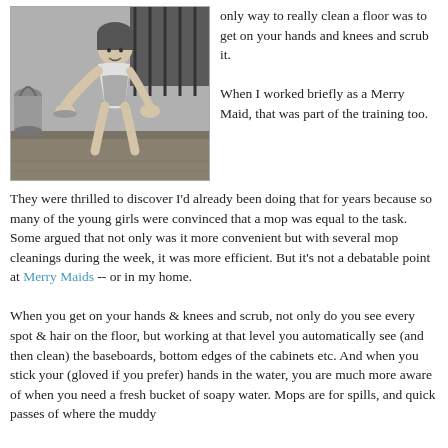[Figure (photo): Black and white photo of a woman on her hands and knees scrubbing a floor, with a bucket visible nearby and bars/cage in the background.]
only way to really clean a floor was to get on your hands and knees and scrub it.

When I worked briefly as a Merry Maid, that was part of the training too. They were thrilled to discover I'd already been doing that for years because so many of the young girls were convinced that a mop was equal to the task. Some argued that not only was it more convenient but with several mop cleanings during the week, it was more efficient. But it's not a debatable point at Merry Maids -- or in my home.

When you get on your hands & knees and scrub, not only do you see every spot & hair on the floor, but working at that level you automatically see (and then clean) the baseboards, bottom edges of the cabinets etc. And when you stick your (gloved if you prefer) hands in the water, you are much more aware of when you need a fresh bucket of soapy water. Mops are for spills, and quick passes of where the muddy boots came in.